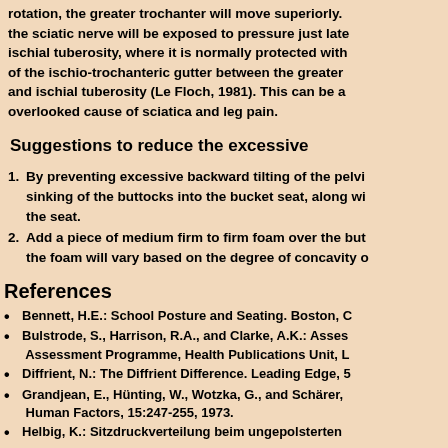rotation, the greater trochanter will move superiorly. the sciatic nerve will be exposed to pressure just late ischial tuberosity, where it is normally protected with of the ischio-trochanteric gutter between the greater and ischial tuberosity (Le Floch, 1981). This can be a overlooked cause of sciatica and leg pain.
Suggestions to reduce the excessive
By preventing excessive backward tilting of the pelvi sinking of the buttocks into the bucket seat, along wi the seat.
Add a piece of medium firm to firm foam over the but the foam will vary based on the degree of concavity o
References
Bennett, H.E.: School Posture and Seating. Boston, C
Bulstrode, S., Harrison, R.A., and Clarke, A.K.: Asses Assessment Programme, Health Publications Unit, L
Diffrient, N.: The Diffrient Difference. Leading Edge, 5
Grandjean, E., Hünting, W., Wotzka, G., and Schärer, Human Factors, 15:247-255, 1973.
Helbig, K.: Sitzdruckverteilung beim ungepolsterten